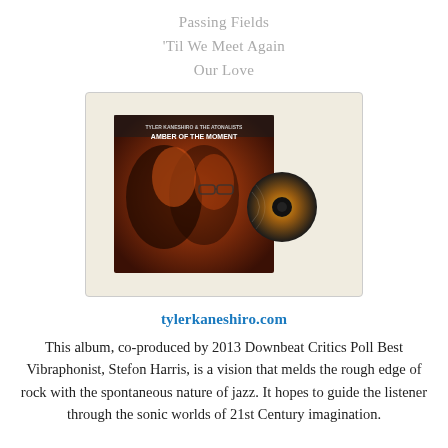Passing Fields
'Til We Meet Again
Our Love
[Figure (photo): CD album cover for 'Amber of the Moment' by Tyler Kaneshiro & The Atonalists, showing two faces in orange/dark tones with a CD disc partially visible on the right side, displayed on a cream/beige background inside a light gray bordered box.]
tylerkaneshiro.com
This album, co-produced by 2013 Downbeat Critics Poll Best Vibraphonist, Stefon Harris, is a vision that melds the rough edge of rock with the spontaneous nature of jazz. It hopes to guide the listener through the sonic worlds of 21st Century imagination.